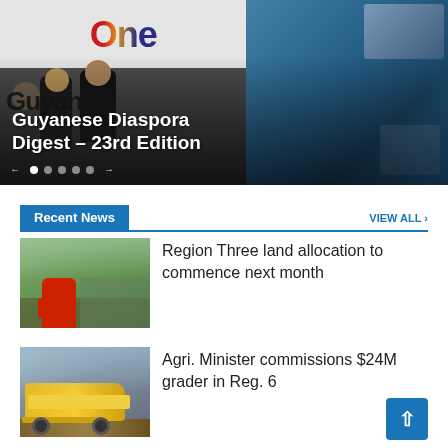[Figure (photo): Hero banner showing One Guyana event/logo with people in foreground and sports event on right side]
Guyanese Diaspora Digest – 23rd Edition
Recent News
VIEW ALL ›
[Figure (photo): Person in red shirt speaking at outdoor event]
Region Three land allocation to commence next month
[Figure (photo): Yellow road grader/construction machine on dirt road]
Agri. Minister commissions $24M grader in Reg. 6